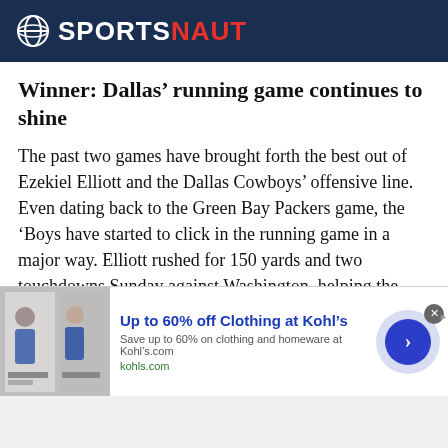SPORTSNAUT
Winner: Dallas’ running game continues to shine
The past two games have brought forth the best out of Ezekiel Elliott and the Dallas Cowboys’ offensive line. Even dating back to the Green Bay Packers game, the ‘Boys have started to click in the running game in a major way. Elliott rushed for 150 yards and two touchdowns Sunday against Washington, helping the Cowboys win by double digits over their hated NFC East rival.
[Figure (screenshot): Advertisement banner for Kohl's clothing sale - Up to 60% off Clothing at Kohl's, with a photo of people and an arrow button]